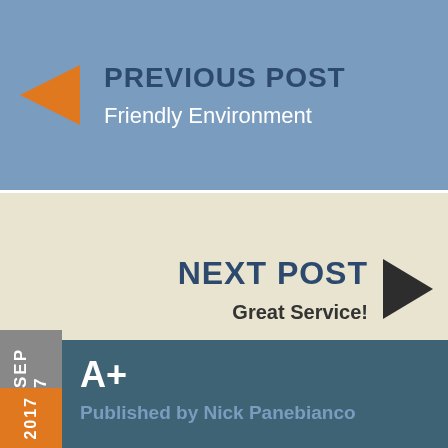PREVIOUS POST
Friendly Environment
NEXT POST
Great Service!
SEP 7
A+
2017
Published by Nick Panebianco